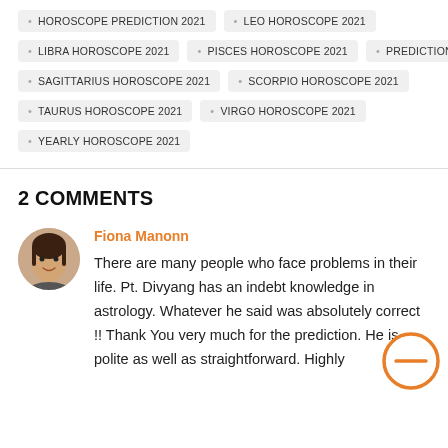HOROSCOPE PREDICTION 2021
LEO HOROSCOPE 2021
LIBRA HOROSCOPE 2021
PISCES HOROSCOPE 2021
PREDICTIONS
SAGITTARIUS HOROSCOPE 2021
SCORPIO HOROSCOPE 2021
TAURUS HOROSCOPE 2021
VIRGO HOROSCOPE 2021
YEARLY HOROSCOPE 2021
2 COMMENTS
Fiona Manonn
There are many people who face problems in their life. Pt. Divyang has an indebt knowledge in astrology. Whatever he said was absolutely correct !! Thank You very much for the prediction. He is polite as well as straightforward. Highly